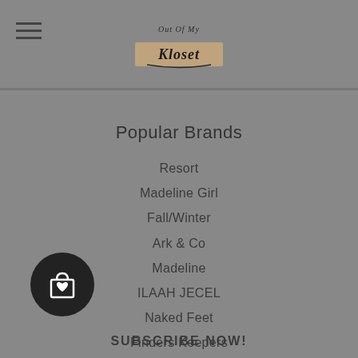Out Of My Kloset — logo and navigation header
Popular Brands
Resort
Madeline Girl
Fall/Winter
Ark & Co
Madeline
ILAAH JECEL
Naked Feet
Finders Keepers
Lovers + Friends
Cameo
View All
[Figure (illustration): Black circular shopping bag button with heart icon]
SUBSCRIBE NOW!